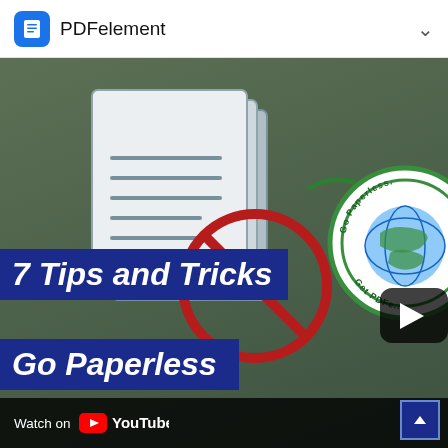PDFelement
[Figure (screenshot): YouTube video thumbnail showing '7 Tips and Tricks to Go Paperless' with PDFelement branding. Features illustrated paper documents with a prohibition sign, an arrow, and a 'Go Paperless / Get PDF' circular badge on a dark green background. A play button is visible. Bottom bar reads 'Watch on YouTube'.]